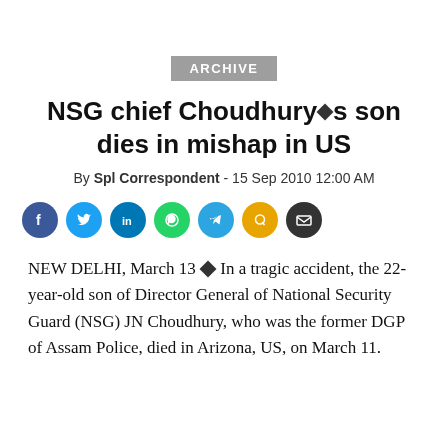ARCHIVE
NSG chief Choudhury◆s son dies in mishap in US
By Spl Correspondent - 15 Sep 2010 12:00 AM
[Figure (infographic): Social media sharing icons: Facebook, Twitter, LinkedIn, WhatsApp, Telegram, Quora, Email]
NEW DELHI, March 13 ◆ In a tragic accident, the 22-year-old son of Director General of National Security Guard (NSG) JN Choudhury, who was the former DGP of Assam Police, died in Arizona, US, on March 11.